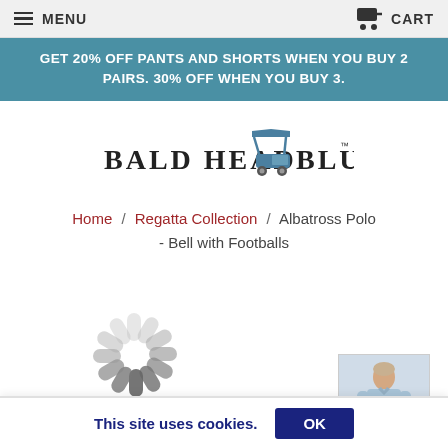MENU  CART
GET 20% OFF PANTS AND SHORTS WHEN YOU BUY 2 PAIRS. 30% OFF WHEN YOU BUY 3.
[Figure (logo): Bald Head Blues brand logo with golf cart illustration and trademark symbol]
Home / Regatta Collection / Albatross Polo - Bell with Footballs
[Figure (other): Loading spinner animation (grey segments in circular pattern) with a thumbnail of a man wearing a light blue polo shirt]
This site uses cookies.  OK